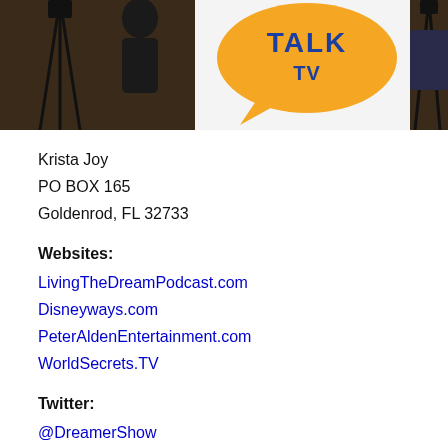[Figure (photo): A composite photo strip showing two photos of people with camera equipment in a room, and in the center a logo that reads 'TALK TV' in a speech bubble style logo.]
Krista Joy
PO BOX 165
Goldenrod, FL 32733
Websites:
LivingTheDreamPodcast.com
Disneyways.com
PeterAldenEntertainment.com
WorldSecrets.TV
Twitter:
@DreamerShow
@Disneyways
@PeterAldenTeam